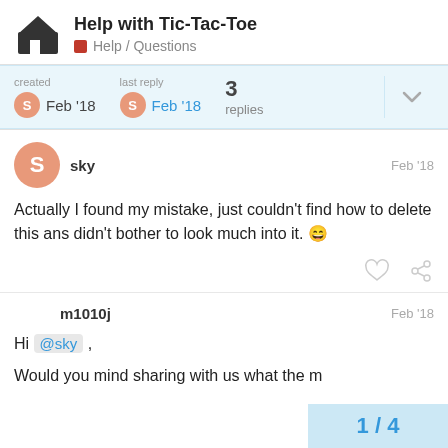Help with Tic-Tac-Toe — Help / Questions
created Feb '18 | last reply Feb '18 | 3 replies
sky — Feb '18
Actually I found my mistake, just couldn't find how to delete this ans didn't bother to look much into it. 😄
m1010j — Feb '18
Hi @sky ,
Would you mind sharing with us what the m
1 / 4